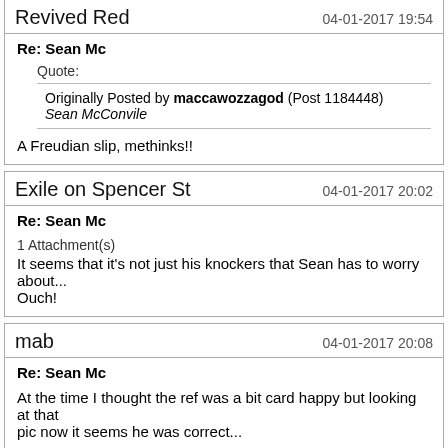Revived Red — 04-01-2017 19:54
Re: Sean Mc
Quote:
Originally Posted by maccawozzagod (Post 1184448)
Sean McConvile
A Freudian slip, methinks!!
Exile on Spencer St — 04-01-2017 20:02
Re: Sean Mc
1 Attachment(s)
It seems that it's not just his knockers that Sean has to worry about...
Ouch!
mab — 04-01-2017 20:08
Re: Sean Mc
At the time I thought the ref was a bit card happy but looking at that pic now it seems he was correct...